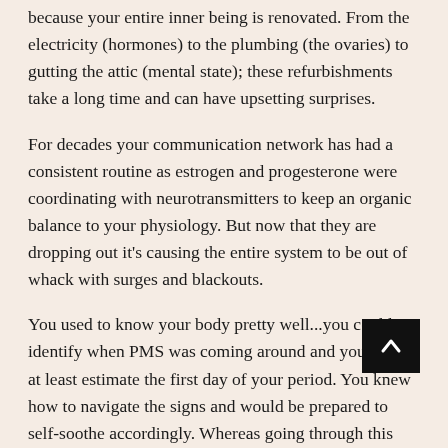because your entire inner being is renovated. From the electricity (hormones) to the plumbing (the ovaries) to gutting the attic (mental state); these refurbishments take a long time and can have upsetting surprises.
For decades your communication network has had a consistent routine as estrogen and progesterone were coordinating with neurotransmitters to keep an organic balance to your physiology. But now that they are dropping out it's causing the entire system to be out of whack with surges and blackouts.
You used to know your body pretty well...you could identify when PMS was coming around and you could at least estimate the first day of your period. You knew how to navigate the signs and would be prepared to self-soothe accordingly. Whereas going through this overhaul is very puzzling and far from the routine you were familiar with.